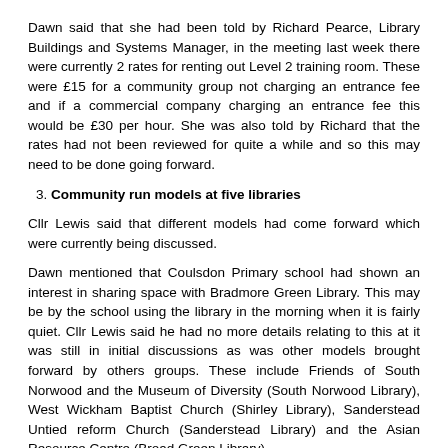Dawn said that she had been told by Richard Pearce, Library Buildings and Systems Manager, in the meeting last week there were currently 2 rates for renting out Level 2 training room. These were £15 for a community group not charging an entrance fee and if a commercial company charging an entrance fee this would be £30 per hour. She was also told by Richard that the rates had not been reviewed for quite a while and so this may need to be done going forward.
3. Community run models at five libraries
Cllr Lewis said that different models had come forward which were currently being discussed.
Dawn mentioned that Coulsdon Primary school had shown an interest in sharing space with Bradmore Green Library. This may be by the school using the library in the morning when it is fairly quiet. Cllr Lewis said he had no more details relating to this at it was still in initial discussions as was other models brought forward by others groups. These include Friends of South Norwood and the Museum of Diversity (South Norwood Library), West Wickham Baptist Church (Shirley Library), Sanderstead Untied reform Church (Sanderstead Library) and the Asian Resource Centre (Broad Green Library).
4. Outsource to a social enterprise the whole Libraries service.
Cllr Lewis replied that he wouldn't want to go back to the days of